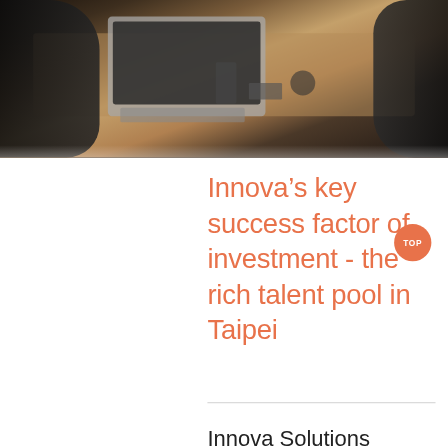[Figure (photo): Overhead view of two people working at a wooden desk with laptops, keyboards, and various office items]
Innova's key success factor of investment - the rich talent pool in Taipei
Innova Solutions Taiwan, is one of the worldwide subsidiaries of Innova